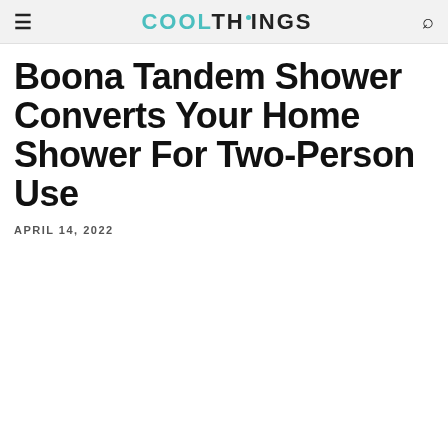COOLTHINGS
Boona Tandem Shower Converts Your Home Shower For Two-Person Use
APRIL 14, 2022